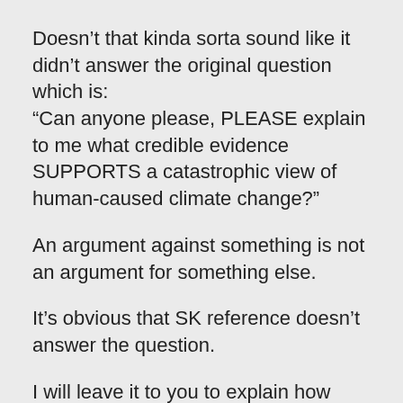Doesn’t that kinda sorta sound like it didn’t answer the original question which is:
“Can anyone please, PLEASE explain to me what credible evidence SUPPORTS a catastrophic view of human-caused climate change?”
An argument against something is not an argument for something else.
It’s obvious that SK reference doesn’t answer the question.
I will leave it to you to explain how creationism and homeopathy (I had